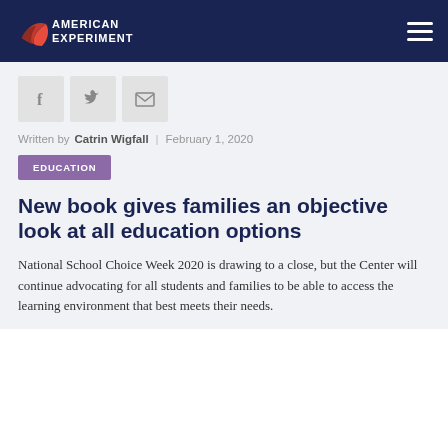American Experiment
[Figure (logo): American Experiment logo with red swoosh graphic and white text on dark navy background]
Written by Catrin Wigfall | February 1, 2020
EDUCATION
New book gives families an objective look at all education options
National School Choice Week 2020 is drawing to a close, but the Center will continue advocating for all students and families to be able to access the learning environment that best meets their needs.